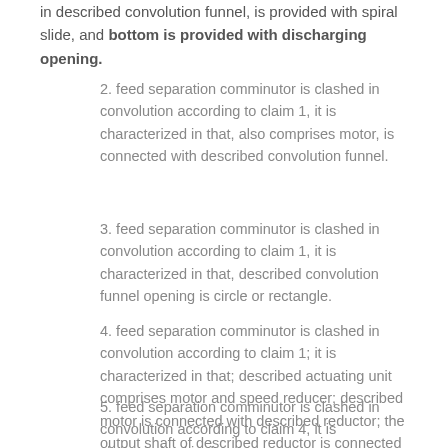in described convolution funnel, is provided with spiral slide, and bottom is provided with discharging opening.
2. feed separation comminutor is clashed in convolution according to claim 1, it is characterized in that, also comprises motor, is connected with described convolution funnel.
3. feed separation comminutor is clashed in convolution according to claim 1, it is characterized in that, described convolution funnel opening is circle or rectangle.
4. feed separation comminutor is clashed in convolution according to claim 1; it is characterized in that; described actuating unit comprises motor and speed reducer; described motor is connected with described reductor; the output shaft of described reductor is connected with described the first rotating shaft and/or described the second rotating shaft, for driving described the first roller and described the second roller to rotate in opposite directions, carries out granulation.
5. feed separation comminutor is clashed in convolution according to claim 4, it is characterized in that, in